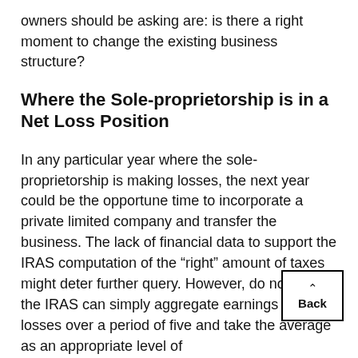owners should be asking are: is there a right moment to change the existing business structure?
Where the Sole-proprietorship is in a Net Loss Position
In any particular year where the sole-proprietorship is making losses, the next year could be the opportune time to incorporate a private limited company and transfer the business. The lack of financial data to support the IRAS computation of the “right” amount of taxes might deter further query. However, do note that the IRAS can simply aggregate earnings and losses over a period of five and take the average as an appropriate level of